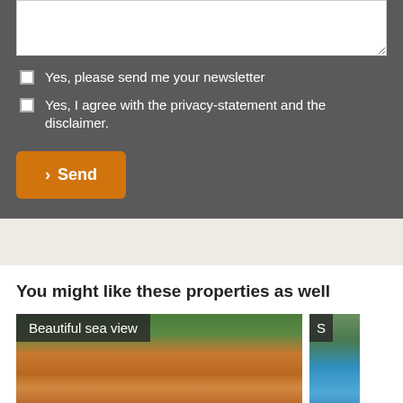Yes, please send me your newsletter
Yes, I agree with the privacy-statement and the disclaimer.
Send
You might like these properties as well
[Figure (photo): Aerial view of orange/terracotta Mediterranean villas surrounded by green trees, with label 'Beautiful sea view']
[Figure (photo): Partial view of another property card, partially cropped, with label starting with 'S']